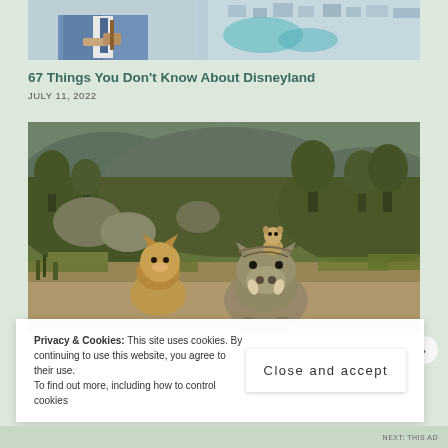[Figure (photo): Partial image at top showing a man in a light blue suit holding something, with an aerial view of a coastal city in the background]
67 Things You Don't Know About Disneyland
JULY 11, 2022
[Figure (photo): Movie still from The Lion King (2019) showing a young lion cub (Simba), a warthog (Pumbaa), and a meerkat (Timon) on Pumbaa's back, in an African savanna landscape with rocks and plants]
Privacy & Cookies: This site uses cookies. By continuing to use this website, you agree to their use.
To find out more, including how to control cookies
Close and accept